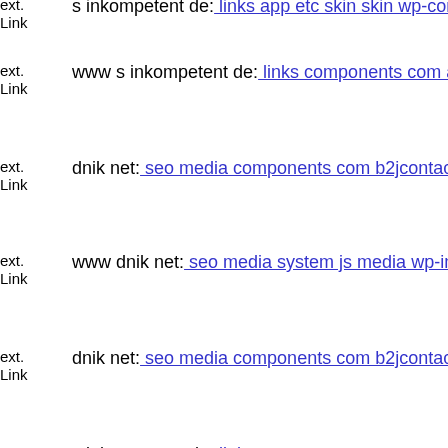ext. Link s inkompetent de: links app etc skin skin wp-content themes si...
ext. Link www s inkompetent de: links components com agora img mem...
ext. Link dnik net: seo media components com b2jcontact izoc php
ext. Link www dnik net: seo media system js media wp-includes admin d...
ext. Link dnik net: seo media components com b2jcontact phpthumb ass...
ext. Link s inkompetent de: links manager components com foxcontact s...
ext. Link mail inkompetent de: links administrator components com civi...
ext. Link dnik net: seo wp-content themes twentyeleven kontakty compo...
ext. Link dnik net: seo media system js magmi web skin media system js...
ext. Link www dnik net: seo media system js wp-content themes themen...
ext. Link dnik net: seo mediag'h
ext. Link dnik net: seo media system js wp-admin includes plugins cont...